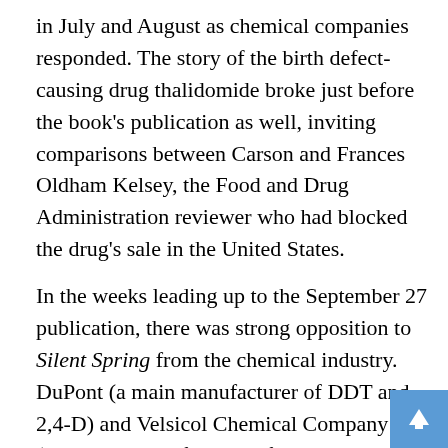in July and August as chemical companies responded. The story of the birth defect-causing drug thalidomide broke just before the book's publication as well, inviting comparisons between Carson and Frances Oldham Kelsey, the Food and Drug Administration reviewer who had blocked the drug's sale in the United States.
In the weeks leading up to the September 27 publication, there was strong opposition to Silent Spring from the chemical industry. DuPont (a main manufacturer of DDT and 2,4-D) and Velsicol Chemical Company (exclusive manufacturer of chlordane and heptachlor) were among the first to respond. DuPont compiled an extensive report on the book's press coverage and estimated impact on public opinion. Velsicol threatened legal action against Houghton Mifflin as well as The New Yorker and Audubon Magazine unless the planned Silent